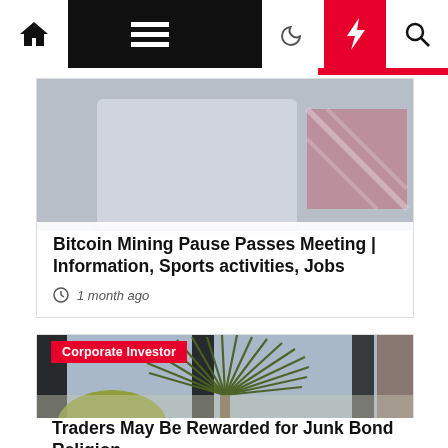Navigation bar with home, menu, dark mode, flash, and search icons
[Figure (screenshot): Article card with blurred background image showing a laptop and plaid fabric, with white overlay containing title and timestamp]
Bitcoin Mining Pause Passes Meeting | Information, Sports activities, Jobs
1 month ago
[Figure (photo): Large photo of a tropical palm tree with spiky fronds viewed from below against a bright sky, with dark structural beams and fence posts, and yellow-green foliage in background. 'Corporate Investor' red tag label visible, with article headline and timestamp overlaid at bottom.]
Corporate Investor
Traders May Be Rewarded for Junk Bond Religion
1 month ago